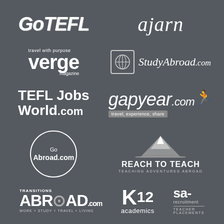[Figure (logo): GoTEFL logo in white grunge/brush text on dark background]
[Figure (logo): ajarn logo in white italic serif text]
[Figure (logo): verge magazine logo with 'travel with purpose' tagline]
[Figure (logo): StudyAbroad.com logo with globe icon]
[Figure (logo): TEFL Jobs World.com logo in bold white text]
[Figure (logo): gapyear.com logo with runner silhouette and 'travel, experience, share' tagline]
[Figure (logo): GoAbroad.com logo inside a circle]
[Figure (logo): Reach To Teach - Teaching Adventures Abroad logo with mountain graphic]
[Figure (logo): Transitions Abroad.com logo - WORK + STUDY + TRAVEL + LIVING]
[Figure (logo): K12 academics logo]
[Figure (logo): sa-recruitment Teacher Placements logo]